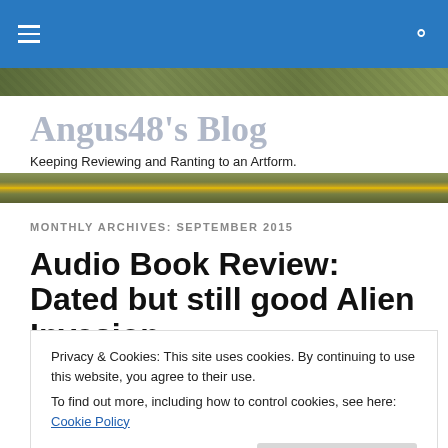Angus48's Blog — navigation bar
[Figure (photo): Camouflage/nature banner image at the top of the blog]
Angus48's Blog
Keeping Reviewing and Ranting to an Artform.
[Figure (photo): Yellow and black hazard stripe banner image]
MONTHLY ARCHIVES: SEPTEMBER 2015
Audio Book Review: Dated but still good Alien Invasion
Privacy & Cookies: This site uses cookies. By continuing to use this website, you agree to their use.
To find out more, including how to control cookies, see here: Cookie Policy
Close and accept